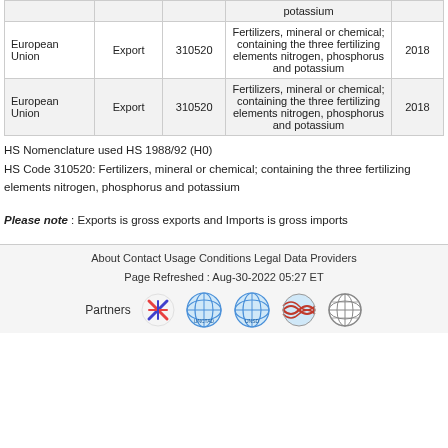| Reporter | Trade Flow | HS Code | Description | Year |
| --- | --- | --- | --- | --- |
|  |  |  | potassium |  |
| European Union | Export | 310520 | Fertilizers, mineral or chemical; containing the three fertilizing elements nitrogen, phosphorus and potassium | 2018 |
| European Union | Export | 310520 | Fertilizers, mineral or chemical; containing the three fertilizing elements nitrogen, phosphorus and potassium | 2018 |
HS Nomenclature used HS 1988/92 (H0)
HS Code 310520: Fertilizers, mineral or chemical; containing the three fertilizing elements nitrogen, phosphorus and potassium
Please note : Exports is gross exports and Imports is gross imports
About   Contact   Usage Conditions   Legal   Data Providers
Page Refreshed : Aug-30-2022 05:27 ET
Partners [logos]